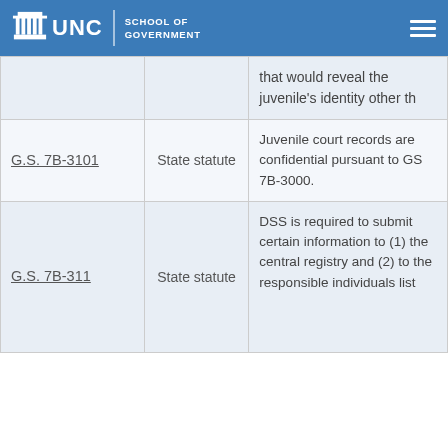UNC School of Government
|  | Type | Description |
| --- | --- | --- |
|  |  | that would reveal the juvenile's identity other th |
| G.S. 7B-3101 | State statute | Juvenile court records are confidential pursuant to GS 7B-3000. |
| G.S. 7B-311 | State statute | DSS is required to submit certain information to (1) the central registry and (2) to the responsible individuals list |